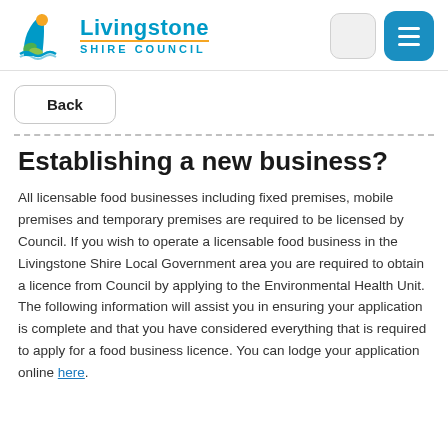Livingstone Shire Council
Back
Establishing a new business?
All licensable food businesses including fixed premises, mobile premises and temporary premises are required to be licensed by Council. If you wish to operate a licensable food business in the Livingstone Shire Local Government area you are required to obtain a licence from Council by applying to the Environmental Health Unit. The following information will assist you in ensuring your application is complete and that you have considered everything that is required to apply for a food business licence. You can lodge your application online here.